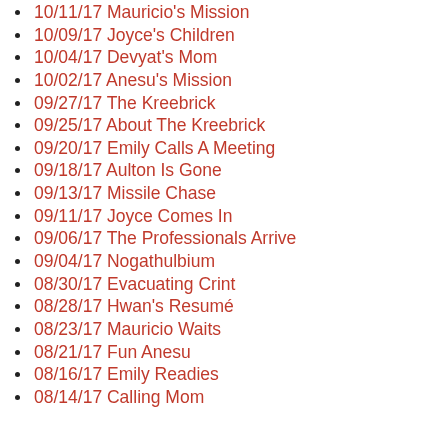10/11/17 Mauricio's Mission
10/09/17 Joyce's Children
10/04/17 Devyat's Mom
10/02/17 Anesu's Mission
09/27/17 The Kreebrick
09/25/17 About The Kreebrick
09/20/17 Emily Calls A Meeting
09/18/17 Aulton Is Gone
09/13/17 Missile Chase
09/11/17 Joyce Comes In
09/06/17 The Professionals Arrive
09/04/17 Nogathulbium
08/30/17 Evacuating Crint
08/28/17 Hwan's Resumé
08/23/17 Mauricio Waits
08/21/17 Fun Anesu
08/16/17 Emily Readies
08/14/17 Calling Mom